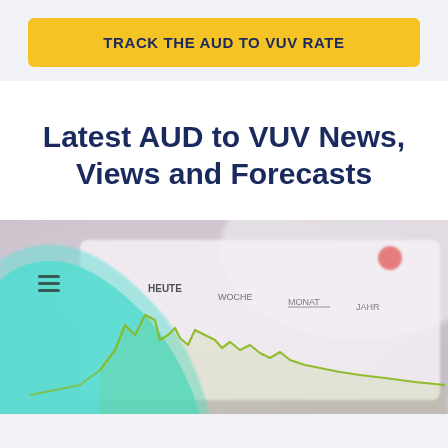TRACK THE AUD TO VUV RATE
Latest AUD to VUV News, Views and Forecasts
[Figure (photo): Blurred closeup photo of a financial/stock chart on a mobile device screen, showing a line chart with labels HEUTE, WOCHE, MONAT, JAHR in German, with green line chart trending downward]